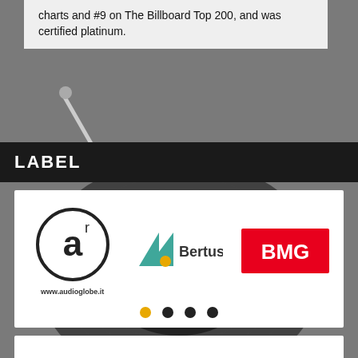charts and #9 on The Billboard Top 200, and was certified platinum.
LABEL
[Figure (logo): Audioglobe logo — circular 'a' monogram with www.audioglobe.it text below]
[Figure (logo): Bertus logo — teal geometric icon with 'Bertus' text]
[Figure (logo): BMG logo — white text on red rectangle background]